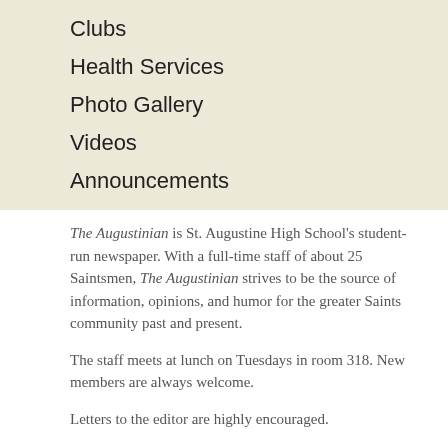Clubs
Health Services
Photo Gallery
Videos
Announcements
The Augustinian is St. Augustine High School's student-run newspaper. With a full-time staff of about 25 Saintsmen, The Augustinian strives to be the source of information, opinions, and humor for the greater Saints community past and present.
The staff meets at lunch on Tuesdays in room 318. New members are always welcome.
Letters to the editor are highly encouraged.